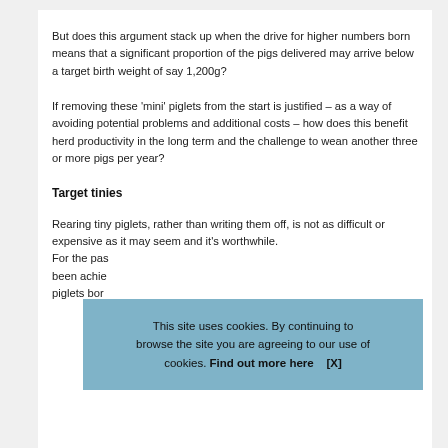But does this argument stack up when the drive for higher numbers born means that a significant proportion of the pigs delivered may arrive below a target birth weight of say 1,200g?
If removing these 'mini' piglets from the start is justified – as a way of avoiding potential problems and additional costs – how does this benefit herd productivity in the long term and the challenge to wean another three or more pigs per year?
Target tinies
Rearing tiny piglets, rather than writing them off, is not as difficult or expensive as it may seem and it's worthwhile. For the pas been achie piglets bor
This site uses cookies. By continuing to browse the site you are agreeing to our use of cookies. Find out more here    [X]